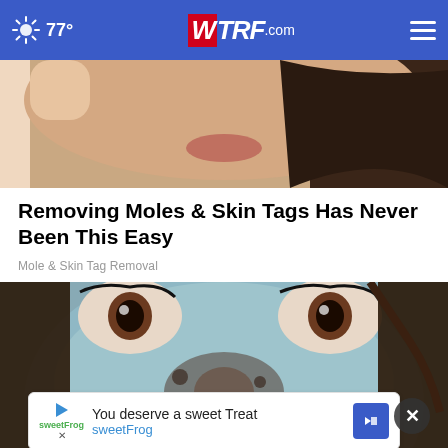77° WTRF.com
[Figure (photo): Close-up partial photo of a person's lower face and chin, cropped at top]
Removing Moles & Skin Tags Has Never Been This Easy
Mole & Skin Tag Removal
[Figure (photo): Close-up photo of a person's face covered in a blue/grey face mask with dark spots]
You deserve a sweet Treat sweetFrog